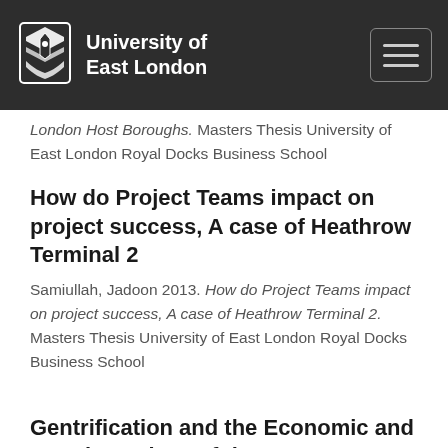University of East London
London Host Boroughs. Masters Thesis University of East London Royal Docks Business School
How do Project Teams impact on project success, A case of Heathrow Terminal 2
Samiullah, Jadoon 2013. How do Project Teams impact on project success, A case of Heathrow Terminal 2. Masters Thesis University of East London Royal Docks Business School
Gentrification and the Economic and Housing Crises of the 2000's: A